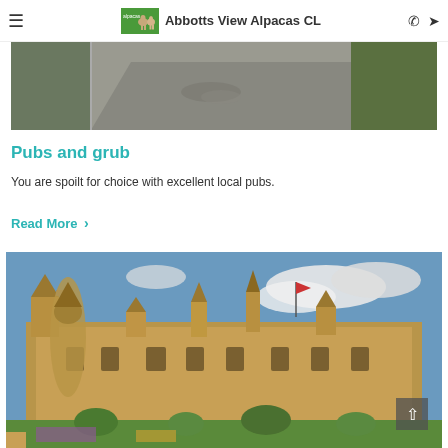Abbotts View Alpacas CL
[Figure (photo): Road scene with tarmac and green vegetation on the side, showing a slightly damaged road surface]
Pubs and grub
You are spoilt for choice with excellent local pubs.
Read More >
[Figure (photo): Grand ornate historic manor house or chateau (Waddesdon Manor) with turrets and spires, blue sky with clouds, formal gardens in foreground]